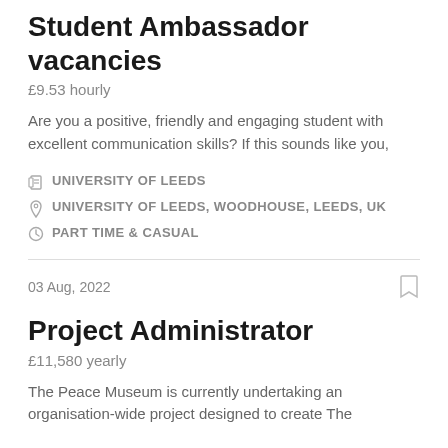Student Ambassador vacancies
£9.53 hourly
Are you a positive, friendly and engaging student with excellent communication skills?  If this sounds like you,
UNIVERSITY OF LEEDS
UNIVERSITY OF LEEDS, WOODHOUSE, LEEDS, UK
PART TIME & CASUAL
03 Aug, 2022
Project Administrator
£11,580 yearly
The Peace Museum is currently undertaking an organisation-wide project designed to create The